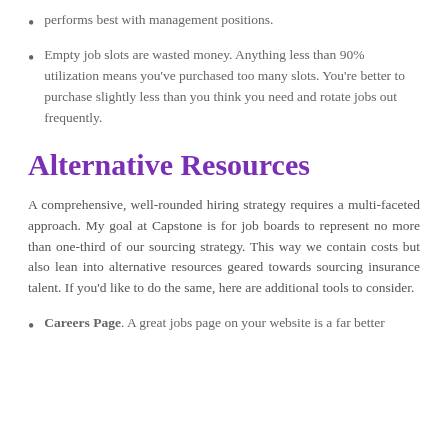Empty job slots are wasted money. Anything less than 90% utilization means you've purchased too many slots. You're better to purchase slightly less than you think you need and rotate jobs out frequently.
Alternative Resources
A comprehensive, well-rounded hiring strategy requires a multi-faceted approach. My goal at Capstone is for job boards to represent no more than one-third of our sourcing strategy. This way we contain costs but also lean into alternative resources geared towards sourcing insurance talent. If you'd like to do the same, here are additional tools to consider.
Careers Page. A great jobs page on your website is a far better